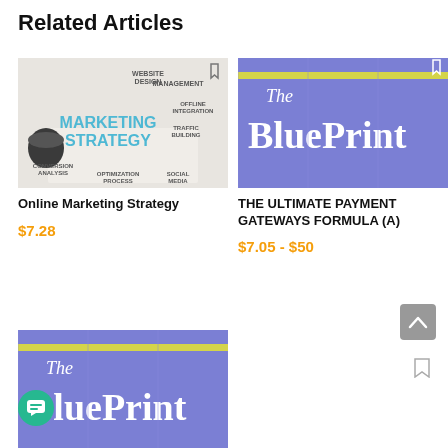Related Articles
[Figure (photo): Marketing strategy concept image with words: WEBSITE DESIGN, MANAGEMENT, MARKETING STRATEGY, OFFLINE INTEGRATION, TRAFFIC BUILDING, CONVERSION ANALYSIS, OPTIMIZATION PROCESS, SOCIAL MEDIA]
Online Marketing Strategy
$7.28
[Figure (photo): The BluePrint logo on purple/blue background with yellow accent stripe]
THE ULTIMATE PAYMENT GATEWAYS FORMULA (A)
$7.05 - $50
[Figure (photo): The BluePrint logo on purple/blue background with yellow accent stripe (bottom left card)]